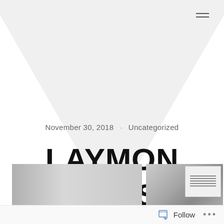[Figure (illustration): Light gray downward-pointing triangle/chevron shape as background decoration in the upper portion of the page]
November 30, 2018 · Uncategorized
LAYMON KILLS
[Figure (photo): Two partial photographs visible at bottom: a gray-toned photo on the left showing a blurred surface, and a photo on the right showing what appears to be a handwritten document or note with a dark frame]
Follow